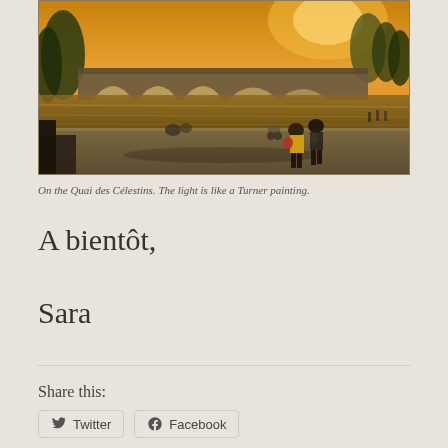[Figure (photo): A photograph taken on the Quai des Célestins in Paris at golden hour. Two women walk away from the camera along a riverside path, one wearing a yellow jacket and the other in black. A stone bridge with arches spans the Seine in the background, bathed in warm amber-orange light reminiscent of a Turner painting.]
On the Quai des Célestins. The light is like a Turner painting.
A bientôt,
Sara
Share this:
Twitter   Facebook